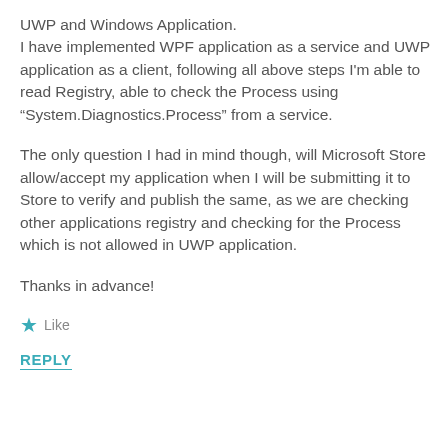UWP and Windows Application.
I have implemented WPF application as a service and UWP application as a client, following all above steps I'm able to read Registry, able to check the Process using “System.Diagnostics.Process” from a service.
The only question I had in mind though, will Microsoft Store allow/accept my application when I will be submitting it to Store to verify and publish the same, as we are checking other applications registry and checking for the Process which is not allowed in UWP application.
Thanks in advance!
★ Like
REPLY